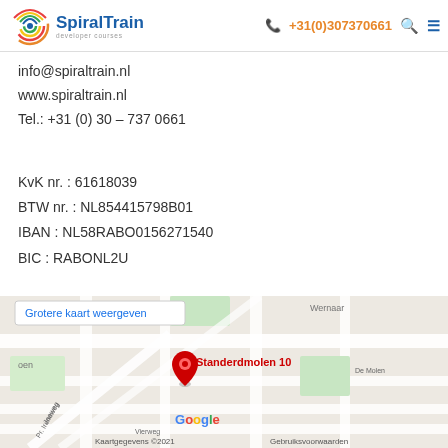SpiralTrain developer courses | +31(0)307370661
info@spiraltrain.nl
www.spiraltrain.nl
Tel.: +31 (0) 30 – 737 0661
KvK nr. : 61618039
BTW nr. : NL854415798B01
IBAN : NL58RABO0156271540
BIC : RABONL2U
[Figure (map): Google Maps screenshot showing Standerdmolen 10 location with a red pin marker. Shows streets including De Molen, Vierweg, Pr. Ireneweg, Jaaweg. Popup label 'Grotere kaart weergeven' visible. Google logo and Kaartgegevens ©2021 Gebruiksvoorwaarden footer.]